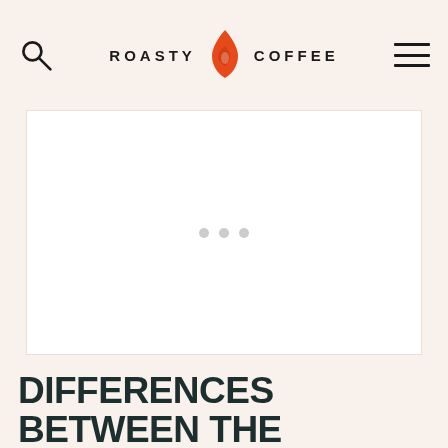ROASTY COFFEE
[Figure (photo): Image placeholder with three gray dots in the center, white background, representing a loading or empty image carousel]
DIFFERENCES BETWEEN THE KEURIG K500 AND K550